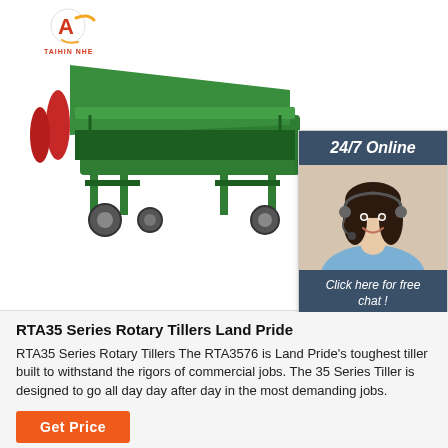[Figure (photo): Green rotary tiller machine (Land Pride RTA35 Series) photographed on white background, with red components on left side and wheels visible. Company logo (letter A with swoosh, red text TAIHIN NHE) in top-left corner.]
[Figure (other): 24/7 Online chat widget with dark blue/teal header reading '24/7 Online', photo of female customer service agent wearing headset and smiling, dark section reading 'Click here for free chat!', and orange QUOTATION button.]
RTA35 Series Rotary Tillers Land Pride
RTA35 Series Rotary Tillers The RTA3576 is Land Pride's toughest tiller built to withstand the rigors of commercial jobs. The 35 Series Tiller is designed to go all day day after day in the most demanding jobs.
Get Price